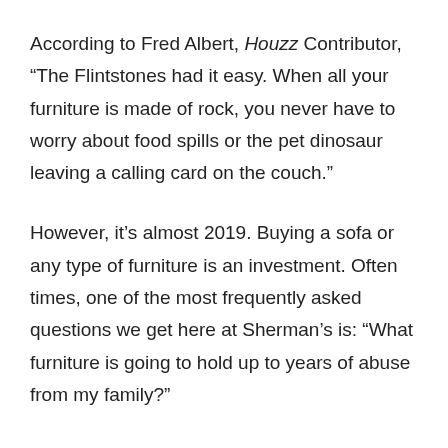According to Fred Albert, Houzz Contributor, “The Flintstones had it easy. When all your furniture is made of rock, you never have to worry about food spills or the pet dinosaur leaving a calling card on the couch.”
However, it’s almost 2019. Buying a sofa or any type of furniture is an investment. Often times, one of the most frequently asked questions we get here at Sherman’s is: “What furniture is going to hold up to years of abuse from my family?”
You understandably want to get the biggest bang for your buck, and of course, we want to help you achieve that!